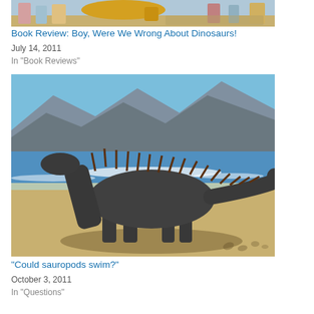[Figure (photo): Top portion of a book review illustration showing people and a dinosaur]
Book Review: Boy, Were We Wrong About Dinosaurs!
July 14, 2011
In "Book Reviews"
[Figure (photo): Illustration of a sauropod dinosaur with spines along its back standing on a beach with ocean and cliffs in the background]
“Could sauropods swim?”
October 3, 2011
In "Questions"